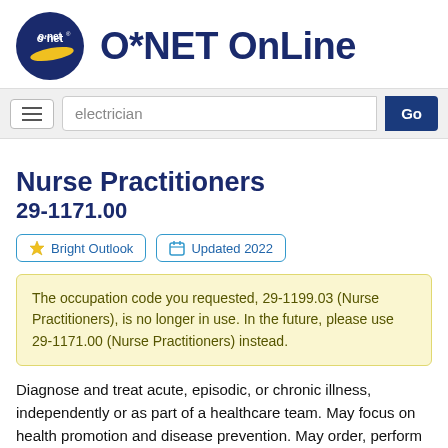[Figure (logo): O*NET Online logo: dark blue circle with 'o·net' text and yellow swoosh, followed by 'O*NET OnLine' in dark blue bold text]
electrician
Nurse Practitioners
29-1171.00
Bright Outlook   Updated 2022
The occupation code you requested, 29-1199.03 (Nurse Practitioners), is no longer in use. In the future, please use 29-1171.00 (Nurse Practitioners) instead.
Diagnose and treat acute, episodic, or chronic illness, independently or as part of a healthcare team. May focus on health promotion and disease prevention. May order, perform